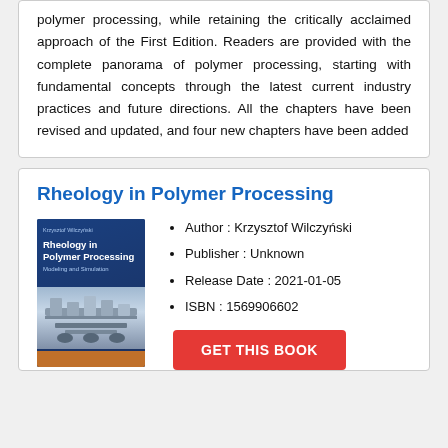polymer processing, while retaining the critically acclaimed approach of the First Edition. Readers are provided with the complete panorama of polymer processing, starting with fundamental concepts through the latest current industry practices and future directions. All the chapters have been revised and updated, and four new chapters have been added
Rheology in Polymer Processing
[Figure (illustration): Book cover of 'Rheology in Polymer Processing: Modeling and Simulation' by Krzysztof Wilczyński, dark blue cover with machinery image]
Author : Krzysztof Wilczyński
Publisher : Unknown
Release Date : 2021-01-05
ISBN : 1569906602
GET THIS BOOK